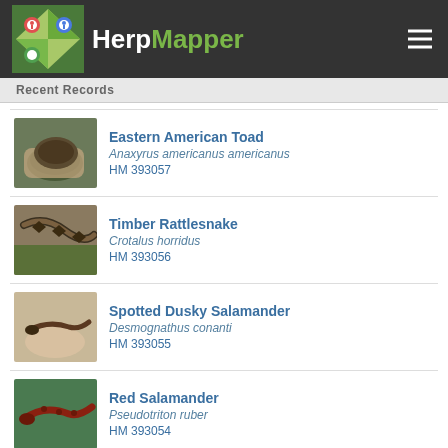HerpMapper
Recent Records
Eastern American Toad | Anaxyrus americanus americanus | HM 393057
Timber Rattlesnake | Crotalus horridus | HM 393056
Spotted Dusky Salamander | Desmognathus conanti | HM 393055
Red Salamander | Pseudotriton ruber | HM 393054
Spotted Dusky Salamander | Desmognathus conanti | HM 393053